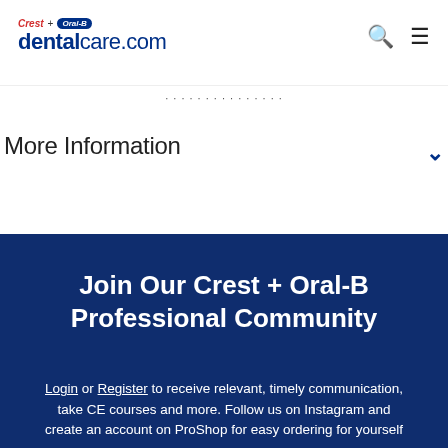Crest + Oral-B dentalcare.com
More Information
Join Our Crest + Oral-B Professional Community
Login or Register to receive relevant, timely communication, take CE courses and more. Follow us on Instagram and create an account on ProShop for easy ordering for yourself